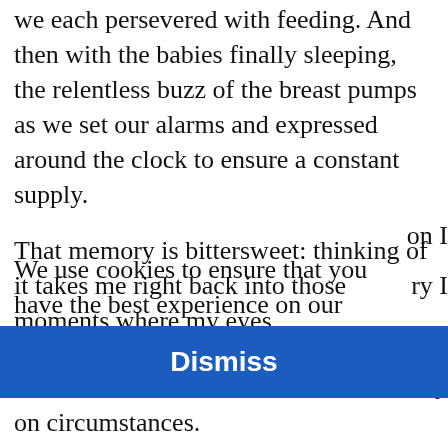starting to gurn, mums gently soothing them as we each persevered with feeding. And then with the babies finally sleeping, the relentless buzz of the breast pumps as we set our alarms and expressed around the clock to ensure a constant supply.
That memory is bittersweet: thinking of it takes me right back into those moments where my eyes on I
We use cookies to ensure that you have the best experience on our website. To learn more about cookies, view our cookie policy.
ry I nilk way
on circumstances.